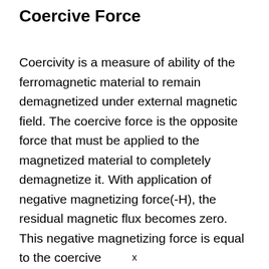Coercive Force
Coercivity is a measure of ability of the ferromagnetic material to remain demagnetized under external magnetic field. The coercive force is the opposite force that must be applied to the magnetized material to completely demagnetize it. With application of negative magnetizing force(-H), the residual magnetic flux becomes zero. This negative magnetizing force is equal to the coercive
x